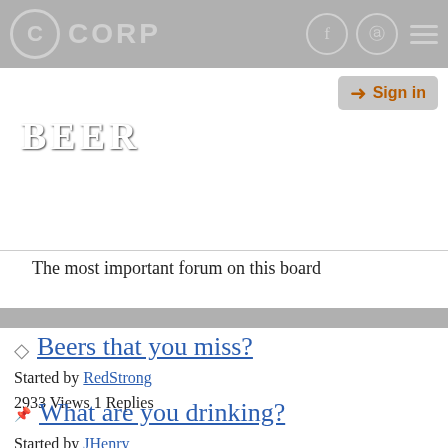CORP
BEER
The most important forum on this board
Beers that you miss?
Started by RedStrong
2933 Views 1 Replies
Last post: imwj1
September 10, 2020, 12:48 PM
What are you drinking?
Started by JHenry
79805 Views 425 Replies